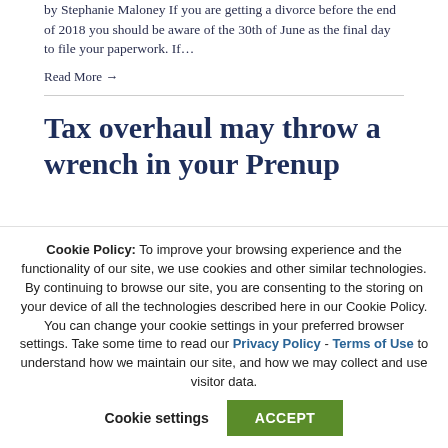by Stephanie Maloney If you are getting a divorce before the end of 2018 you should be aware of the 30th of June as the final day to file your paperwork. If…
Read More →
Tax overhaul may throw a wrench in your Prenup
Cookie Policy: To improve your browsing experience and the functionality of our site, we use cookies and other similar technologies. By continuing to browse our site, you are consenting to the storing on your device of all the technologies described here in our Cookie Policy. You can change your cookie settings in your preferred browser settings. Take some time to read our Privacy Policy - Terms of Use to understand how we maintain our site, and how we may collect and use visitor data. Cookie settings ACCEPT